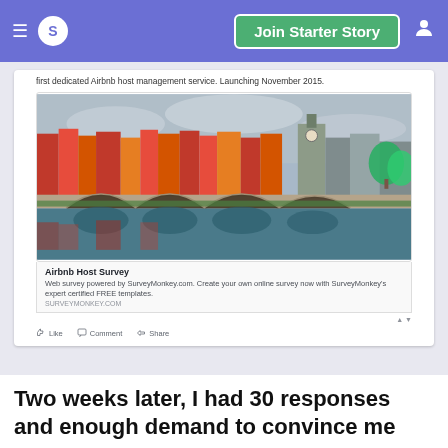S  Join Starter Story  [user icon]
first dedicated Airbnb host management service. Launching November 2015.
[Figure (screenshot): Facebook post card showing a photo of Dublin city bridge with colorful buildings, along with a SurveyMonkey link preview for 'Airbnb Host Survey'. Below the image: Like, Comment, Share buttons.]
Two weeks later, I had 30 responses and enough demand to convince me